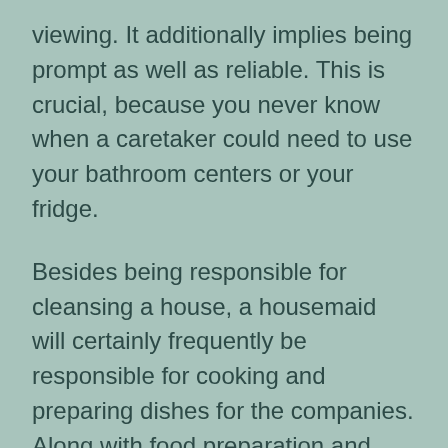viewing. It additionally implies being prompt as well as reliable. This is crucial, because you never know when a caretaker could need to use your bathroom centers or your fridge.
Besides being responsible for cleansing a house, a housemaid will certainly frequently be responsible for cooking and preparing dishes for the companies. Along with food preparation and also cleansing, maids might likewise look after washing and light ironing. To be a good housemaid, you have to be flexible as well as able to depend on your feet for extended periods of time. Your job will likely report to a